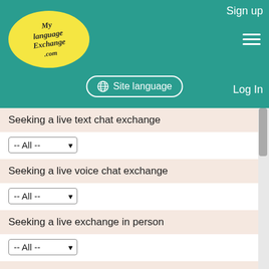[Figure (screenshot): MyLanguageExchange.com website header with teal background, yellow oval logo, Sign up link, hamburger menu, Site language button, and Log In link]
Seeking a live text chat exchange
-- All --
Seeking a live voice chat exchange
-- All --
Seeking a live exchange in person
-- All --
First Name
Optional
Description contains:
Optional